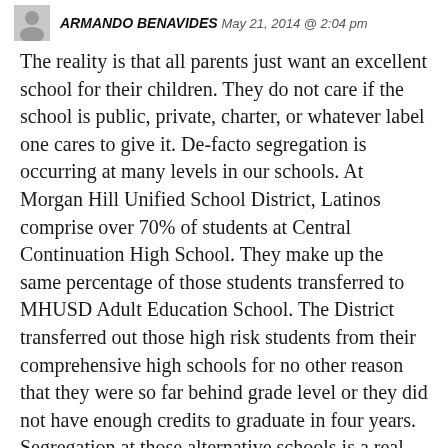ARMANDO BENAVIDES  May 21, 2014 @ 2:04 pm
The reality is that all parents just want an excellent school for their children. They do not care if the school is public, private, charter, or whatever label one cares to give it. De-facto segregation is occurring at many levels in our schools. At Morgan Hill Unified School District, Latinos comprise over 70% of students at Central Continuation High School. They make up the same percentage of those students transferred to MHUSD Adult Education School. The District transferred out those high risk students from their comprehensive high schools for no other reason that they were so far behind grade level or they did not have enough credits to graduate in four years.
Segregation at those alternative schools is a real consequence that awaits those students who do not have the benefit of an excellent school. We all know the fate of those high risk students.
We can look at the performance achievement data of any year and clearly identify schools, charters and public, that chronically produce poor performing students across all subgroups.. Within the same District, we can identify schools that produce higher